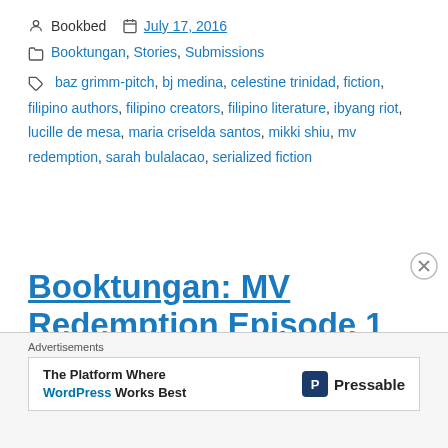Bookbed   July 17, 2016
Booktungan, Stories, Submissions
baz grimm-pitch, bj medina, celestine trinidad, fiction, filipino authors, filipino creators, filipino literature, ibyang riot, lucille de mesa, maria criselda santos, mikki shiu, mv redemption, sarah bulalacao, serialized fiction
Booktungan: MV Redemption Episode 1
Advertisements
The Platform Where WordPress Works Best — Pressable